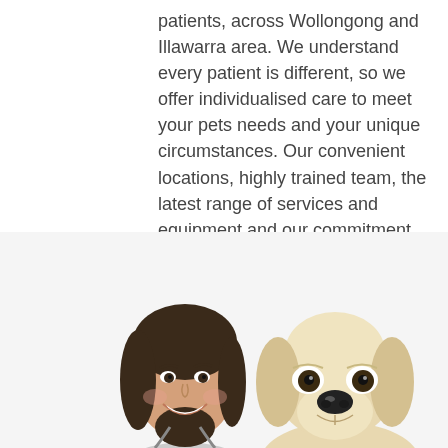patients, across Wollongong and Illawarra area. We understand every patient is different, so we offer individualised care to meet your pets needs and your unique circumstances. Our convenient locations, highly trained team, the latest range of services and equipment and our commitment to client service, is what makes Illawarra Animal Hospital stand out.
[Figure (photo): A smiling young female veterinarian with dark hair and a stethoscope, posed next to a cream/golden Labrador puppy, both facing the camera against a white background.]